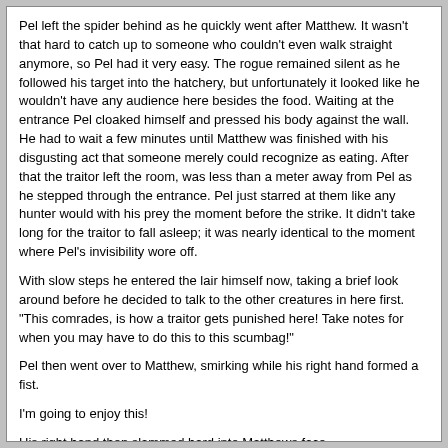Pel left the spider behind as he quickly went after Matthew. It wasn't that hard to catch up to someone who couldn't even walk straight anymore, so Pel had it very easy. The rogue remained silent as he followed his target into the hatchery, but unfortunately it looked like he wouldn't have any audience here besides the food. Waiting at the entrance Pel cloaked himself and pressed his body against the wall. He had to wait a few minutes until Matthew was finished with his disgusting act that someone merely could recognize as eating. After that the traitor left the room, was less than a meter away from Pel as he stepped through the entrance. Pel just starred at them like any hunter would with his prey the moment before the strike. It didn't take long for the traitor to fall asleep; it was nearly identical to the moment where Pel's invisibility wore off.
With slow steps he entered the lair himself now, taking a brief look around before he decided to talk to the other creatures in here first. "This comrades, is how a traitor gets punished here! Take notes for when you may have to do this to this scumbag!"
Pel then went over to Matthew, smirking while his right hand formed a fist.
I'm going to enjoy this!
His right hand then slammed hard into Matthews face.
Pel Summary
Health: 99%
Location: Lair
Gold: 0.00
Level: 3.51
Keeper Approval: -10
Mood: Satisfied
Status: Beginning to stave Matthew
Quick Summary: Pel talked with Skios about the traitor and took a look around the lava river for a moment before following the traitor who got back up. In the lair he then begun to attack him in front of his comrades to embarass him even more.